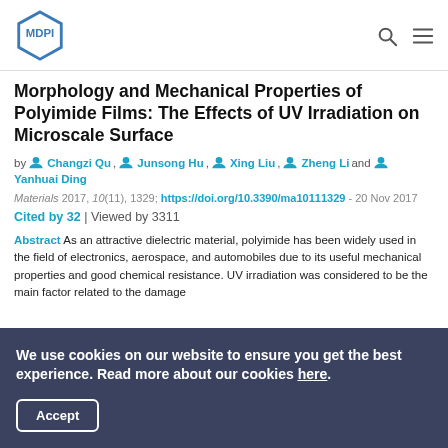MDPI
Morphology and Mechanical Properties of Polyimide Films: The Effects of UV Irradiation on Microscale Surface
by Changzi Qu, Junsong Hu, Xing Liu, Zheng Li and Yanhuai Ding
Materials 2017, 10(11), 1329; https://doi.org/10.3390/ma10111329 - 20 Nov 2017
Cited by 32 | Viewed by 3311
Abstract As an attractive dielectric material, polyimide has been widely used in the field of electronics, aerospace, and automobiles due to its useful mechanical properties and good chemical resistance. UV irradiation was considered to be the main factor related to the damage
We use cookies on our website to ensure you get the best experience. Read more about our cookies here.
Accept